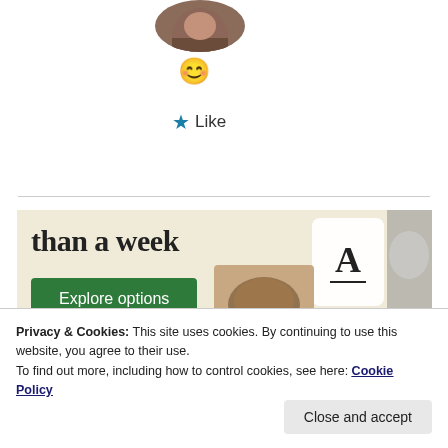[Figure (photo): Partial circular avatar photo showing a person, cropped at top]
[Figure (illustration): Smiling face emoji (yellow smiley with closed happy eyes)]
★ Like
[Figure (screenshot): Advertisement banner with text 'than a week', a green 'Explore options' button, and mockup screenshots of a website/app with food imagery and an 'A' logo card]
Privacy & Cookies: This site uses cookies. By continuing to use this website, you agree to their use.
To find out more, including how to control cookies, see here: Cookie Policy
Close and accept